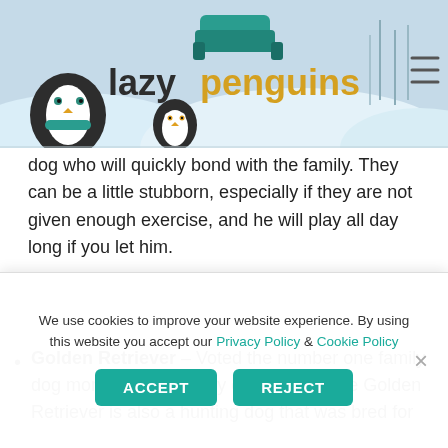[Figure (logo): Lazy Penguins website header banner with penguin cartoon characters, snowy winter background, logo text 'lazypenguin' with penguins mascots, and hamburger menu icon]
dog who will quickly bond with the family. They can be a little stubborn, especially if they are not given enough exercise, and he will play all day long if you let him.
Golden Retriever – Voted the number one family dog more often than any other breed, the Golden Retriever is also a hunting dog that was bred for
We use cookies to improve your website experience. By using this website you accept our Privacy Policy & Cookie Policy
ACCEPT   REJECT